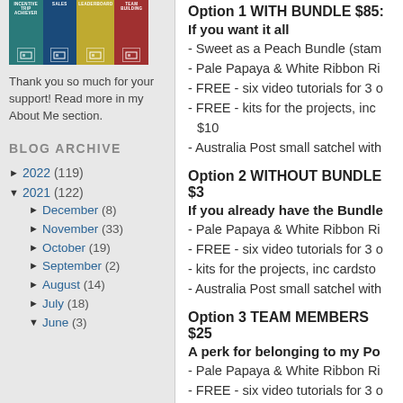[Figure (illustration): Four colored badge tiles: teal (Incentive Trip Achiever), blue (Sales), gold (Leaderboard), red (Team Building)]
Thank you so much for your support! Read more in my About Me section.
BLOG ARCHIVE
► 2022 (119)
▼ 2021 (122)
► December (8)
► November (33)
► October (19)
► September (2)
► August (14)
► July (18)
▼ June (3)
Option 1 WITH BUNDLE $85:
If you want it all
- Sweet as a Peach Bundle (stam...
- Pale Papaya & White Ribbon R...
- FREE - six video tutorials for 3 c...
- FREE - kits for the projects, inc... $10
- Australia Post small satchel with...
Option 2 WITHOUT BUNDLE $3...
If you already have the Bundle...
- Pale Papaya & White Ribbon R...
- FREE - six video tutorials for 3 c...
- kits for the projects, inc cardsto...
- Australia Post small satchel with...
Option 3 TEAM MEMBERS $25...
A perk for belonging to my Po...
- Pale Papaya & White Ribbon R...
- FREE - six video tutorials for 3 c...
- kits for the projects, inc cardsto...